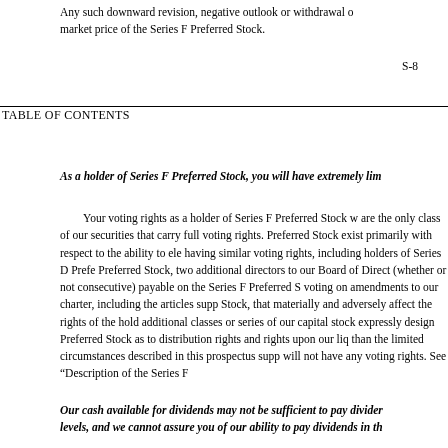Any such downward revision, negative outlook or withdrawal of market price of the Series F Preferred Stock.
S-8
TABLE OF CONTENTS
As a holder of Series F Preferred Stock, you will have extremely lim
Your voting rights as a holder of Series F Preferred Stock w are the only class of our securities that carry full voting rights. Preferred Stock exist primarily with respect to the ability to ele having similar voting rights, including holders of Series D Prefe Preferred Stock, two additional directors to our Board of Direct (whether or not consecutive) payable on the Series F Preferred S voting on amendments to our charter, including the articles supp Stock, that materially and adversely affect the rights of the hold additional classes or series of our capital stock expressly design Preferred Stock as to distribution rights and rights upon our liq than the limited circumstances described in this prospectus supp will not have any voting rights. See “Description of the Series F
Our cash available for dividends may not be sufficient to pay dividen levels, and we cannot assure you of our ability to pay dividends in th